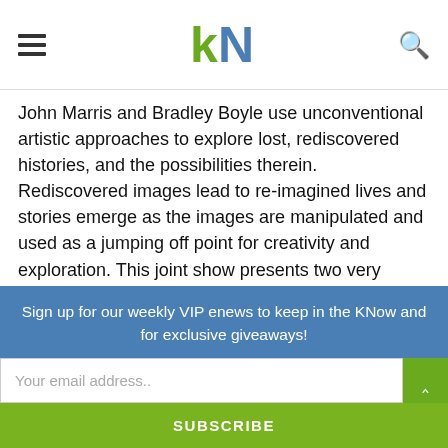KN logo with hamburger menu and search icon
John Marris and Bradley Boyle use unconventional artistic approaches to explore lost, rediscovered histories, and the possibilities therein. Rediscovered images lead to re-imagined lives and stories emerge as the images are manipulated and used as a jumping off point for creativity and exploration. This joint show presents two very different responses to found images from the past.
Atelier Ludmila is located at 129-1/2 Hunter Street West, 3rd floor (#1), in downtown Peterborough. Hours of operation are Saturdays from 11 a.m. until 4 p.m. or by appointment. For
Sign up for our weekly VIP enews to keep in the KNow and for exclusive giveaways!
Your email address..
SUBSCRIBE